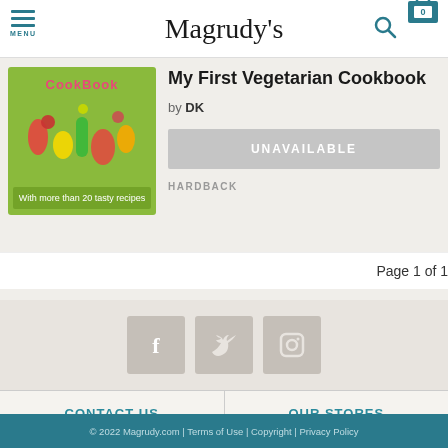Magrudy's
[Figure (illustration): Book cover of 'My First Vegetarian Cookbook' showing cartoon vegetables on a green background with text 'With more than 20 tasty recipes']
My First Vegetarian Cookbook
by DK
UNAVAILABLE
HARDBACK
Page 1 of 1
[Figure (logo): Social media icons: Facebook, Twitter, Instagram]
CONTACT US
OUR STORES
© 2022 Magrudy.com | Terms of Use | Copyright | Privacy Policy